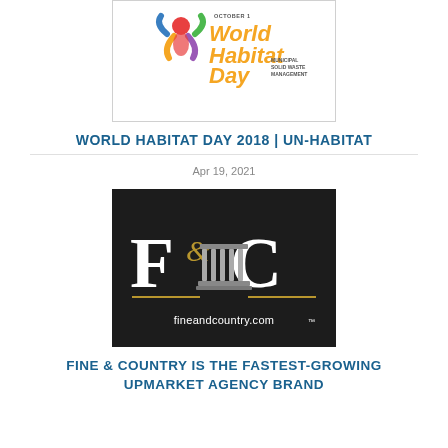[Figure (logo): World Habitat Day 2018 logo with colorful figure graphic, orange text reading 'World Habitat Day', 'Municipal Solid Waste Management', and 'October 1' at top]
WORLD HABITAT DAY 2018 | UN-HABITAT
Apr 19, 2021
[Figure (logo): Fine & Country logo on dark/black background: large white serif F and C letters with gold ampersand, a classical column illustration in center, gold horizontal lines, and text 'fineandcountry.com' with trademark symbol]
FINE & COUNTRY IS THE FASTEST-GROWING UPMARKET AGENCY BRAND